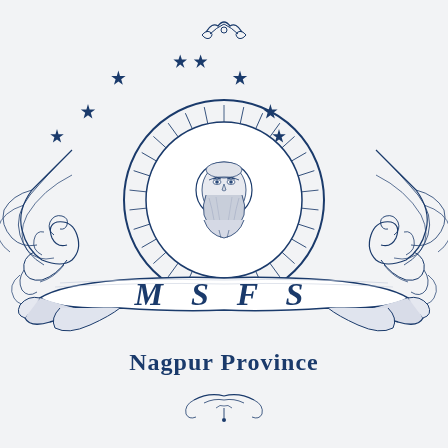[Figure (logo): MSFS Nagpur Province crest/logo: central medallion with a bearded saint figure surrounded by radiating lines and a circular border, flanked by ornate baroque scrollwork on left and right, eight pointed stars arranged in an arc above, a decorative banner ribbon below with Gothic-style letters 'M S F S', and below that the text 'Nagpur Province' in Gothic/blackletter font, with small decorative flourishes at top and bottom. All rendered in dark navy blue on a light grey-white background.]